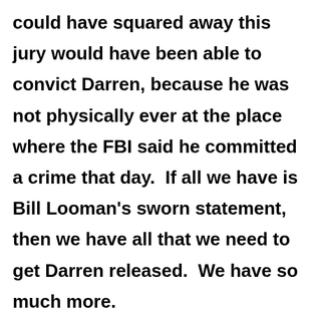could have squared away this jury would have been able to convict Darren, because he was not physically ever at the place where the FBI said he committed a crime that day.  If all we have is Bill Looman's sworn statement, then we have all that we need to get Darren released.  We have so much more.

How do we get this in front of a judge for